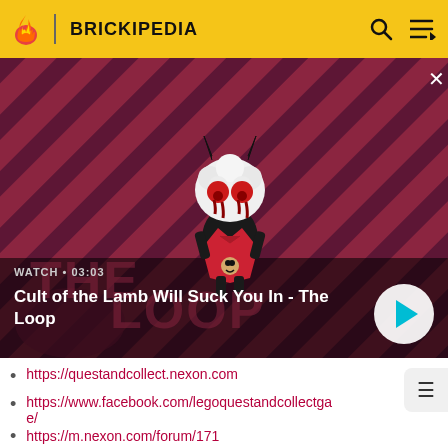BRICKIPEDIA
[Figure (screenshot): Video thumbnail for 'Cult of the Lamb Will Suck You In - The Loop' showing a cartoon lamb character with red eyes and horns on a striped dark red background. Watch time shown as 03:03.]
https://questandcollect.nexon.com
https://www.facebook.com/legoquestandcollectgame/
https://m.nexon.com/forum/171
Video footage of most of the game